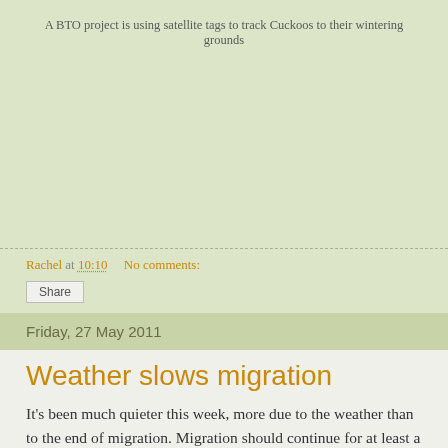A BTO project is using satellite tags to track Cuckoos to their wintering grounds
Rachel at 10:10   No comments:
Share
Friday, 27 May 2011
Weather slows migration
It's been much quieter this week, more due to the weather than to the end of migration. Migration should continue for at least a couple more weeks yet with the focus turning to the north as some late migrants and overshoots arrive there.
Spotted Flycatchers and Quails have arrived in small